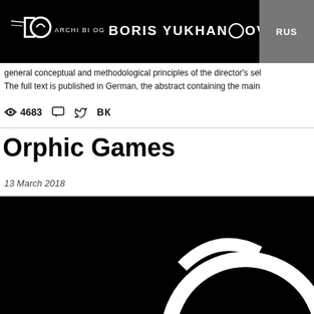ARCHIVE BLOG BORIS YUKHANANOV RUS
general conceptual and methodological principles of the director's sel
The full text is published in German, the abstract containing the main
4683
Orphic Games
13 March 2018
[Figure (photo): Black background with a white circular ring/omega-like shape visible in the lower right portion of the image]